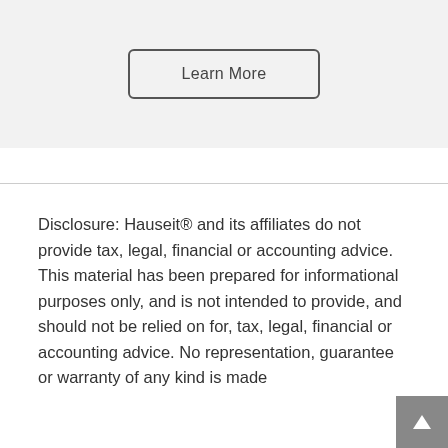[Figure (other): Gray banner section with a 'Learn More' button centered, styled with a rounded rectangle border]
Disclosure: Hauseit® and its affiliates do not provide tax, legal, financial or accounting advice. This material has been prepared for informational purposes only, and is not intended to provide, and should not be relied on for, tax, legal, financial or accounting advice. No representation, guarantee or warranty of any kind is made or regarding the accuracy or completeness of